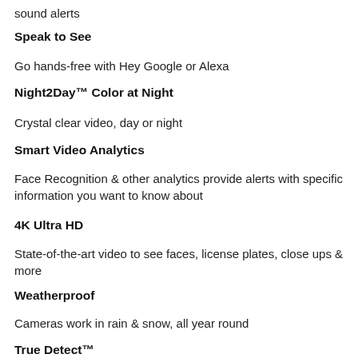sound alerts
Speak to See
Go hands-free with Hey Google or Alexa
Night2Day™ Color at Night
Crystal clear video, day or night
Smart Video Analytics
Face Recognition & other analytics provide alerts with specific information you want to know about
4K Ultra HD
State-of-the-art video to see faces, license plates, close ups & more
Weatherproof
Cameras work in rain & snow, all year round
True Detect™